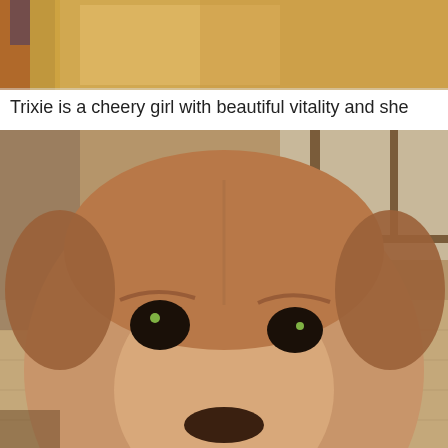[Figure (photo): Close-up photo of a golden/tan dog, likely a retriever, viewed from above showing its back and fur]
Trixie is a cheery girl with beautiful vitality and she
[Figure (photo): Close-up photo of a brown/tan dog (Labrador mix) looking directly at the camera with glowing green eyes, standing on a tiled floor with wooden cabinets in the background]